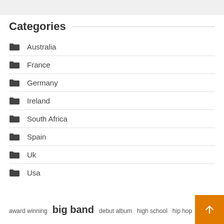Categories
Australia
France
Germany
Ireland
South Africa
Spain
Uk
Usa
award winning  big band  debut album  high school  hip hop